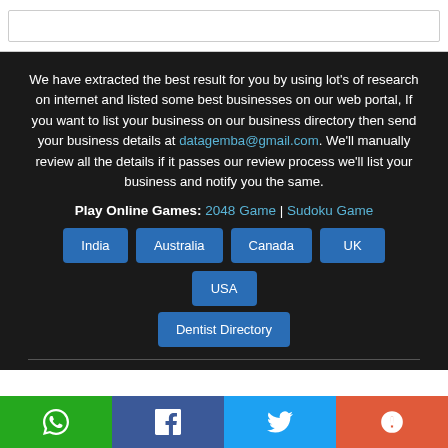We have extracted the best result for you by using lot's of research on internet and listed some best businesses on our web portal, If you want to list your business on our business directory then send your business details at datagemba@gmail.com. We'll manually review all the details if it passes our review process we'll list your business and notify you the same.
Play Online Games: 2048 Game | Sudoku Game
India
Australia
Canada
UK
USA
Dentist Directory
WhatsApp | Facebook | Twitter | More